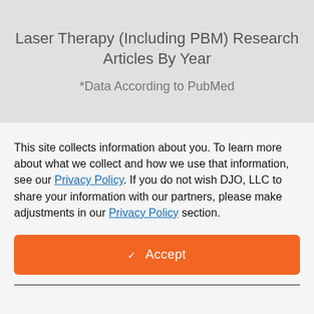Laser Therapy (Including PBM) Research Articles By Year
*Data According to PubMed
This site collects information about you. To learn more about what we collect and how we use that information, see our Privacy Policy. If you do not wish DJO, LLC to share your information with our partners, please make adjustments in our Privacy Policy section.
✓ Accept